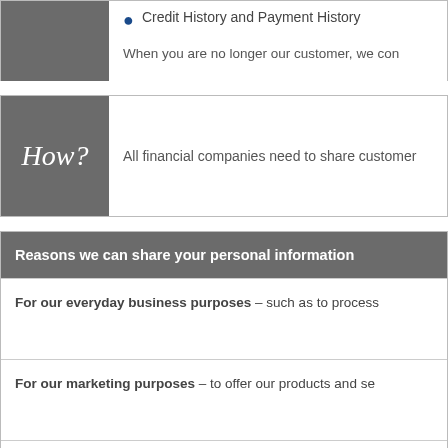Credit History and Payment History
When you are no longer our customer, we con
How?
All financial companies need to share customer
Reasons we can share your personal information
For our everyday business purposes – such as to process
For our marketing purposes – to offer our products and se
For Joint marketing with other financial companies
For our affiliates' everyday business purposes – Informa